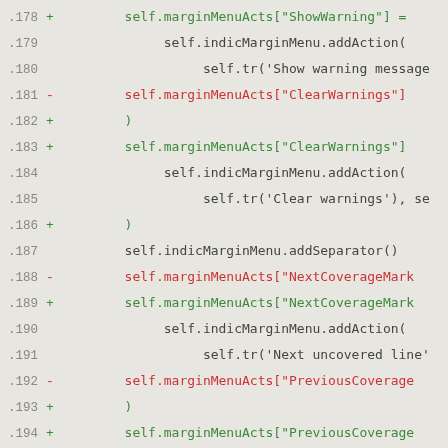[Figure (screenshot): Code diff view showing Python source code lines 178-197 with added (+) lines in green and removed (-) lines in red on a light grey background. Lines show modifications to marginMenuActs dictionary assignments for ShowWarning, ClearWarnings, NextCoverageMark, and PreviousCoverage actions using indicMarginMenu.addAction() calls.]